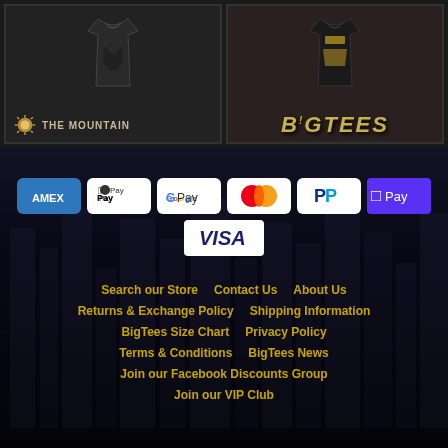[Figure (screenshot): Two product images side by side: left shows 'The Mountain' branded t-shirt, right shows 'BigTees' branded t-shirt]
[Figure (infographic): Payment method badges: AMEX, Apple Pay, Google Pay, Mastercard, PayPal, Shop Pay, Visa]
Search our Store
Contact Us
About Us
Returns & Exchange Policy
Shipping Information
BigTees Size Chart
Privacy Policy
Terms & Conditions
BigTees News
Join our Facebook Discounts Group
Join our VIP Club